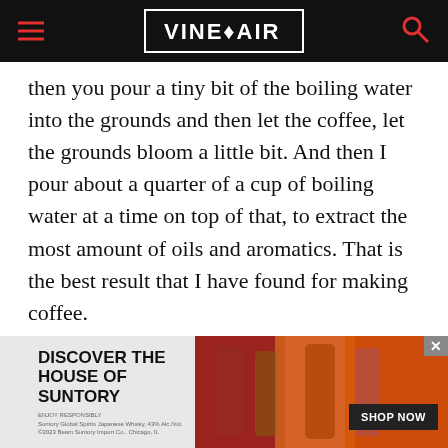VINEPAIR
then you pour a tiny bit of the boiling water into the grounds and then let the coffee, let the grounds bloom a little bit. And then I pour about a quarter of a cup of boiling water at a time on top of that, to extract the most amount of oils and aromatics. That is the best result that I have found for making coffee.
A: Zach, what about you, man?
[Figure (infographic): Advertisement banner for Suntory with text DISCOVER THE HOUSE OF SUNTORY and a SHOP NOW button, alongside an image of whisky bottles]